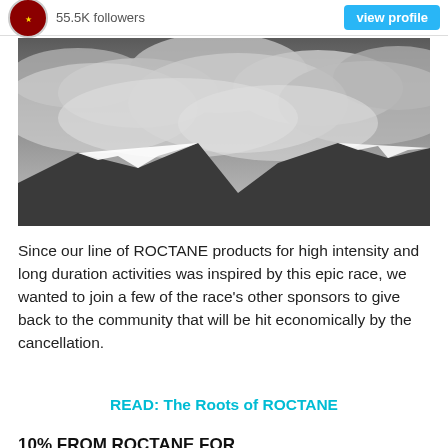55.5K followers  View profile
[Figure (photo): Black and white photo of mountain peaks with dramatic cloudy sky above.]
Since our line of ROCTANE products for high intensity and long duration activities was inspired by this epic race, we wanted to join a few of the race's other sponsors to give back to the community that will be hit economically by the cancellation.
READ: The Roots of ROCTANE
10% FROM ROCTANE FOR HARDROCK
During the month of July, we're donating